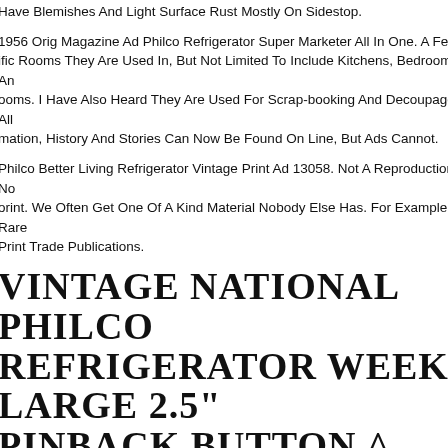Have Blemishes And Light Surface Rust Mostly On Sidestop.
1956 Orig Magazine Ad Philco Refrigerator Super Marketer All In One. A Few ific Rooms They Are Used In, But Not Limited To Include Kitchens, Bedrooms An ooms. I Have Also Heard They Are Used For Scrap-booking And Decoupage. All mation, History And Stories Can Now Be Found On Line, But Ads Cannot.
Philco Better Living Refrigerator Vintage Print Ad 13058. Not A Reproduction - No orint. We Often Get One Of A Kind Material Nobody Else Has. For Example Rare Print Trade Publications.
VINTAGE NATIONAL PHILCO REFRIGERATOR WEEK LARGE 2.5" PINBACK BUTTON ^
We Do Combine Multiple Wins! Made By Philadelphia Badge Co.
TCG 1944 ORIG MAGAZINE AD PHILCO REFRIGERATOR GAVE YOU ADVANCED DESIGN B4 WAR
w Specific Rooms They Are Used In, But Not Limited To Include Kitchens, ooms And Bathrooms. I Have Also Heard They Are Used For Scrap-booking And oupage. All Information, History And Stories Can Now Be Found On Line, But Ads